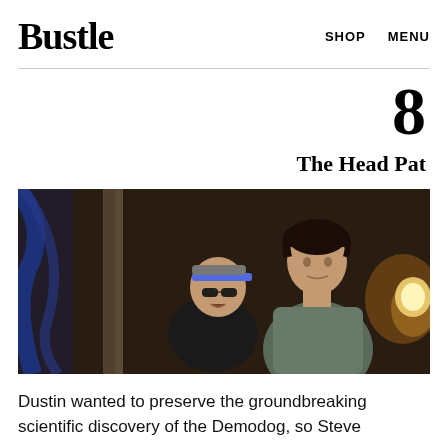Bustle   SHOP   MENU
8
The Head Pat
[Figure (photo): Scene from Stranger Things showing two young characters indoors, one wearing a cap with a blue sequined brim (Dustin), the other taller with dark hair leaning in (Steve). Dark atmospheric interior setting with warm lamp light on the right.]
Dustin wanted to preserve the groundbreaking scientific discovery of the Demodog, so Steve